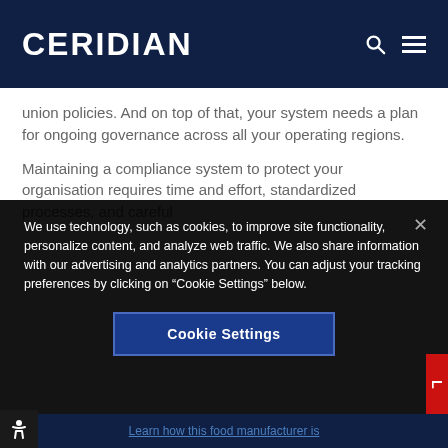CERIDIAN
union policies. And on top of that, your system needs a plan for ongoing governance across all your operating regions.
Maintaining a compliance system to protect your organisation requires time and effort, standardized processes, and careful
We use technology, such as cookies, to improve site functionality, personalize content, and analyze web traffic. We also share information with our advertising and analytics partners. You can adjust your tracking preferences by clicking on “Cookie Settings” below.
Cookie Settings
Learn how this food manufacturer is